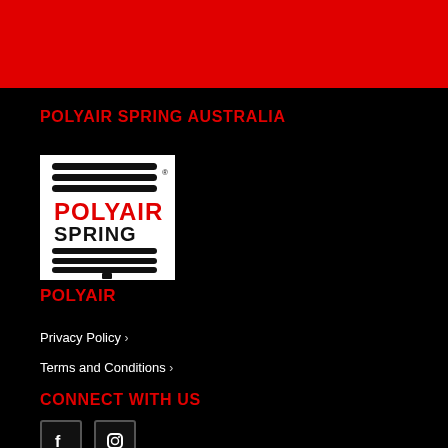[Figure (illustration): Red banner at top of page]
POLYAIR SPRING AUSTRALIA
[Figure (logo): Polyair Spring logo: horizontal black bars with red POLYAIR text and black SPRING text on white background, with spring element at bottom]
POLYAIR
Privacy Policy >
Terms and Conditions >
CONNECT WITH US
[Figure (illustration): Social media icons: Facebook and Instagram square icons at bottom]